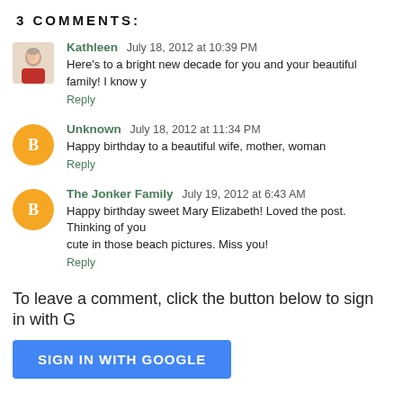3 COMMENTS:
Kathleen July 18, 2012 at 10:39 PM
Here's to a bright new decade for you and your beautiful family! I know y
Reply
Unknown July 18, 2012 at 11:34 PM
Happy birthday to a beautiful wife, mother, woman
Reply
The Jonker Family July 19, 2012 at 6:43 AM
Happy birthday sweet Mary Elizabeth! Loved the post. Thinking of you cute in those beach pictures. Miss you!
Reply
To leave a comment, click the button below to sign in with G
SIGN IN WITH GOOGLE